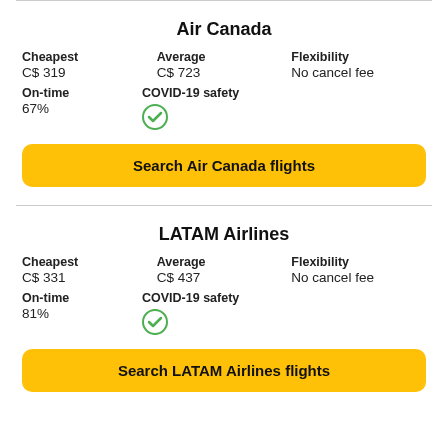Air Canada
Cheapest: C$ 319 | Average: C$ 723 | Flexibility: No cancel fee
On-time: 67% | COVID-19 safety: checked
Search Air Canada flights
LATAM Airlines
Cheapest: C$ 331 | Average: C$ 437 | Flexibility: No cancel fee
On-time: 81% | COVID-19 safety: checked
Search LATAM Airlines flights